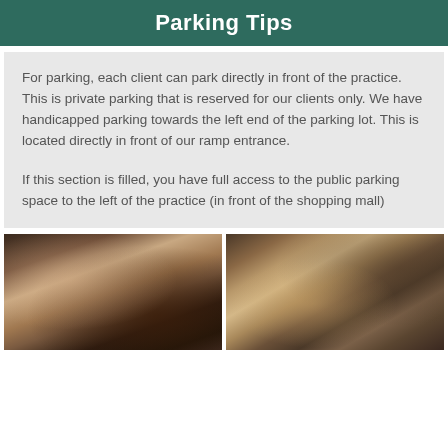Parking Tips
For parking, each client can park directly in front of the practice. This is private parking that is reserved for our clients only. We have handicapped parking towards the left end of the parking lot. This is located directly in front of our ramp entrance.
If this section is filled, you have full access to the public parking space to the left of the practice (in front of the shopping mall)
[Figure (photo): Interior photo of a massage or treatment room with warm brown tones, cushioned table with white towels, and decorative items]
[Figure (photo): Interior photo of a room with a lamp, framed artwork on wall, plant with dark leaves, and white furniture/console]